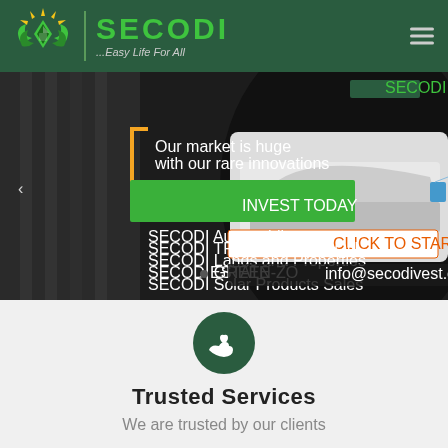[Figure (logo): SECODI logo with green leaf/sun emblem, company name in green, tagline '...Easy Life For All', on dark green header bar with hamburger menu icon]
[Figure (screenshot): Marketing banner with dark background and car image. Text: 'Our market is huge with our rare innovations', 'INVEST TODAY' in large white text on green background, 'CLICK TO START YOUR INVESTMENT' orange/red button, list: 'SECODI Automobile, SECODI TRANSPORTATION, SECODI Lands and Properties, SECODI GREEN-ZONE ESTATE, SECODI Solar Products Sales', contact: 'info@secodivest.com + 2348124527630', SECODI logo top right, left carousel arrow]
[Figure (illustration): Dark green circle icon with white heart and hand (charity/care symbol)]
Trusted Services
We are trusted by our clients